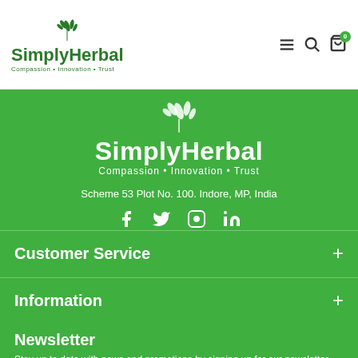[Figure (logo): SimplyHerbal logo with leaf icon, tagline: Compassion Innovation Trust]
[Figure (logo): Navigation icons: hamburger menu, search, cart with 0]
[Figure (logo): SimplyHerbal white logo on green background with leaf icon]
Compassion • Innovation • Trust
Scheme 53 Plot No. 100. Indore, MP, India
[Figure (illustration): Social media icons: Facebook, Twitter, Instagram, LinkedIn]
Customer Service
Information
Newsletter
Stay up to date with news and promotions by signing up for our newsletter
Your email
Send
I have read and agree to the Privacy Policy